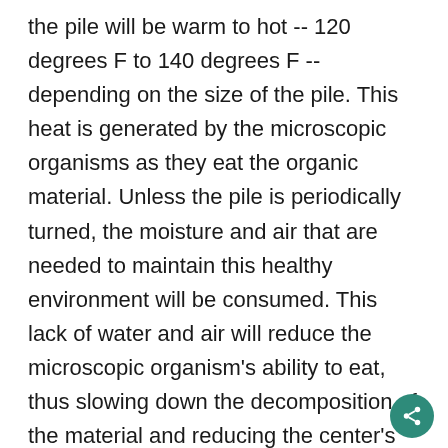the pile will be warm to hot -- 120 degrees F to 140 degrees F -- depending on the size of the pile. This heat is generated by the microscopic organisms as they eat the organic material. Unless the pile is periodically turned, the moisture and air that are needed to maintain this healthy environment will be consumed. This lack of water and air will reduce the microscopic organism's ability to eat, thus slowing down the decomposition of the material and reducing the center's temperature. To keep this from happening, periodically turn or mix the pile using a shovel or pitchfork. Also check the moisture content of the pile. If it is drier than a damp sponge, add water and mix it thoroughly throughout the pile.
If the pile is maintained correctly, the materials shoul